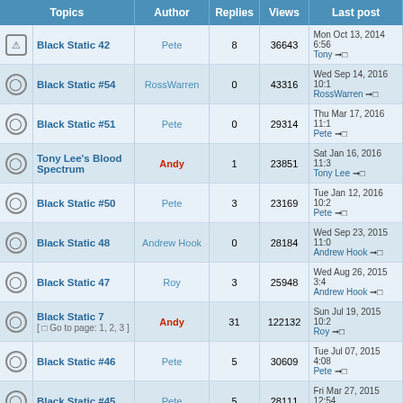| Topics | Author | Replies | Views | Last post |
| --- | --- | --- | --- | --- |
| Black Static 42 | Pete | 8 | 36643 | Mon Oct 13, 2014 6:56 Tony → |
| Black Static #54 | RossWarren | 0 | 43316 | Wed Sep 14, 2016 10:1 RossWarren → |
| Black Static #51 | Pete | 0 | 29314 | Thu Mar 17, 2016 11:1 Pete → |
| Tony Lee's Blood Spectrum | Andy | 1 | 23851 | Sat Jan 16, 2016 11:3 Tony Lee → |
| Black Static #50 | Pete | 3 | 23169 | Tue Jan 12, 2016 10:2 Pete → |
| Black Static 48 | Andrew Hook | 0 | 28184 | Wed Sep 23, 2015 11:0 Andrew Hook → |
| Black Static 47 | Roy | 3 | 25948 | Wed Aug 26, 2015 3:4 Andrew Hook → |
| Black Static 7 [ Go to page: 1, 2, 3 ] | Andy | 31 | 122132 | Sun Jul 19, 2015 10:2 Roy → |
| Black Static #46 | Pete | 5 | 30609 | Tue Jul 07, 2015 4:08 Pete → |
| Black Static #45 | Pete | 5 | 28111 | Fri Mar 27, 2015 12:54 Andrew Hook → |
| Black... |  |  |  |  |